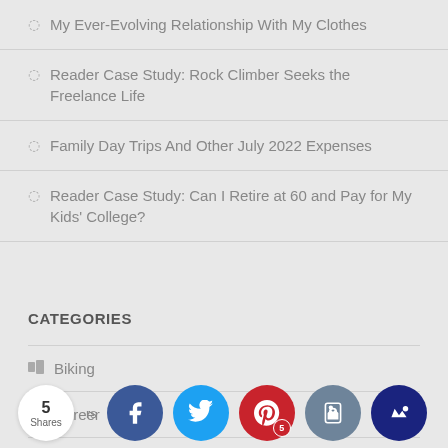My Ever-Evolving Relationship With My Clothes
Reader Case Study: Rock Climber Seeks the Freelance Life
Family Day Trips And Other July 2022 Expenses
Reader Case Study: Can I Retire at 60 and Pay for My Kids' College?
CATEGORIES
Biking
Career